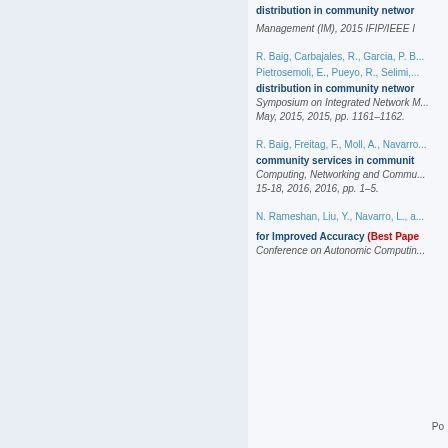distribution in community netwo... Management (IM), 2015 IFIP/IEEE I...
R. Baig, Carbajales, R., Garcia, P. B..., Pietrosemoli, E., Pueyo, R., Selimi,... distribution in community networ... Symposium on Integrated Network M... May, 2015, 2015, pp. 1161–1162.
R. Baig, Freitag, F., Moll, A., Navarro... community services in communit... Computing, Networking and Commu... 15-18, 2016, 2016, pp. 1–5.
N. Rameshan, Liu, Y., Navarro, L., a... for Improved Accuracy (Best Pape... Conference on Autonomic Computin...
Po